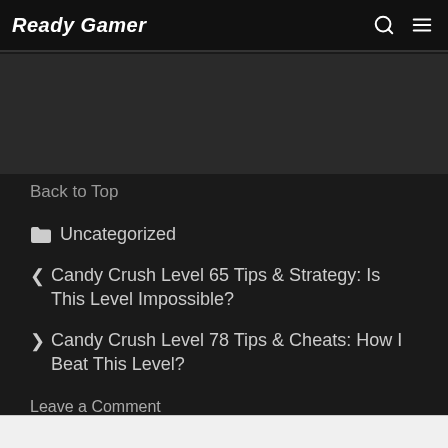Ready Gamer
Back to Top
Uncategorized
Candy Crush Level 65 Tips & Strategy: Is This Level Impossible?
Candy Crush Level 78 Tips & Cheats: How I Beat This Level?
Leave a Comment